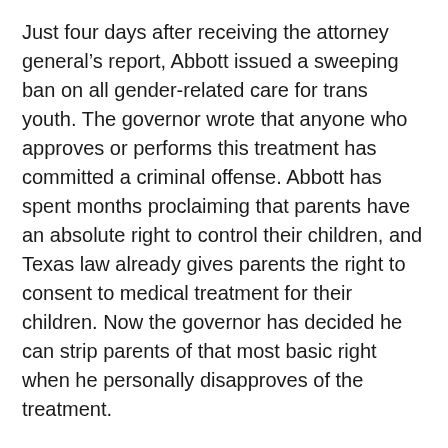Just four days after receiving the attorney general's report, Abbott issued a sweeping ban on all gender-related care for trans youth. The governor wrote that anyone who approves or performs this treatment has committed a criminal offense. Abbott has spent months proclaiming that parents have an absolute right to control their children, and Texas law already gives parents the right to consent to medical treatment for their children. Now the governor has decided he can strip parents of that most basic right when he personally disapproves of the treatment.
Abbott went even further, ordering the Texas Department of Family and Protective Services to “promptly and thoroughly investigate all reported instances of these abusive procedures in the State of Texas.” It also ordered all “licensed professionals who have direct contact with children” to report instances of gender-affirming care for minors. Teachers